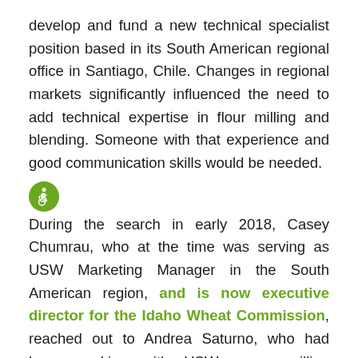develop and fund a new technical specialist position based in its South American regional office in Santiago, Chile. Changes in regional markets significantly influenced the need to add technical expertise in flour milling and blending. Someone with that experience and good communication skills would be needed.
[Figure (illustration): Green circle with white wheelchair accessibility icon]
During the search in early 2018, Casey Chumrau, who at the time was serving as USW Marketing Manager in the South American region, and is now executive director for the Idaho Wheat Commission, reached out to Andrea Saturno, who had been working with USW as a milling consultant since 2013, to ask